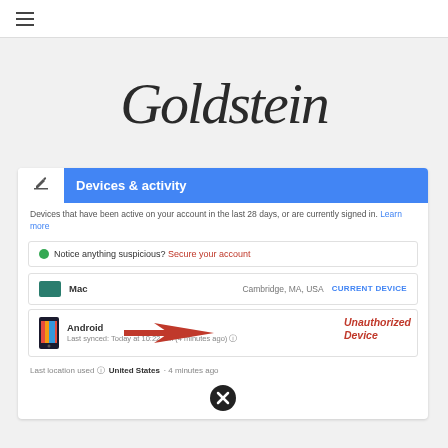≡ (hamburger menu)
Goldstein
[Figure (screenshot): Google account Devices & activity panel showing a Mac labeled 'Cambridge, MA, USA CURRENT DEVICE' and an Android device labeled 'Last synced: Today at 10:22 AM (4 minutes ago)' with a red arrow pointing to it labeled 'Unauthorized Device'. Below shows 'Last location used: United States · 4 minutes ago' and a remove/close button.]